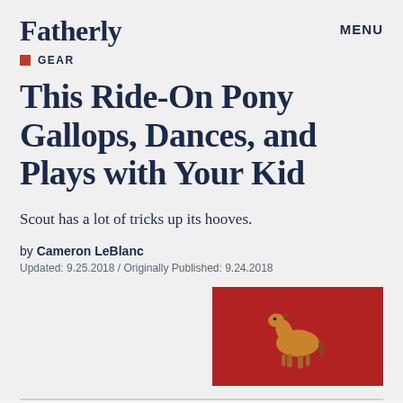Fatherly
MENU
GEAR
This Ride-On Pony Gallops, Dances, and Plays with Your Kid
Scout has a lot of tricks up its hooves.
by Cameron LeBlanc
Updated: 9.25.2018 / Originally Published: 9.24.2018
[Figure (photo): Red background image with a golden pony/horse figurine toy]
ids love ponies. They also love Power